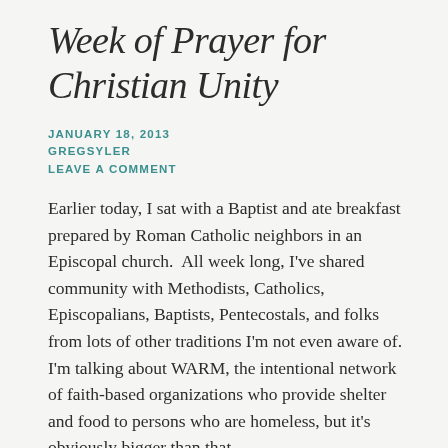Week of Prayer for Christian Unity
JANUARY 18, 2013
GREGSYLER
LEAVE A COMMENT
Earlier today, I sat with a Baptist and ate breakfast prepared by Roman Catholic neighbors in an Episcopal church.  All week long, I've shared community with Methodists, Catholics, Episcopalians, Baptists, Pentecostals, and folks from lots of other traditions I'm not even aware of. I'm talking about WARM, the intentional network of faith-based organizations who provide shelter and food to persons who are homeless, but it's obviously bigger than that.